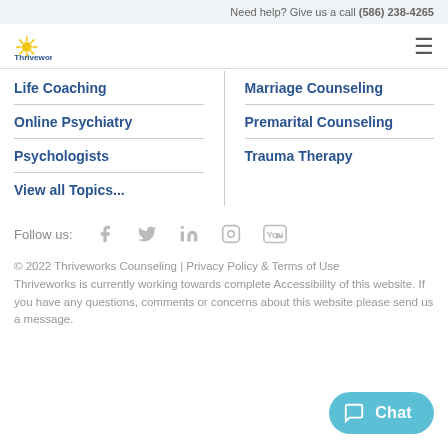Need help? Give us a call (586) 238-4265
[Figure (logo): Thriveworks logo with yellow sunburst and blue text]
Life Coaching
Marriage Counseling
Online Psychiatry
Premarital Counseling
Psychologists
Trauma Therapy
View all Topics...
Follow us:
© 2022 Thriveworks Counseling | Privacy Policy & Terms of Use Thriveworks is currently working towards complete Accessibility of this website. If you have any questions, comments or concerns about this website please send us a message.